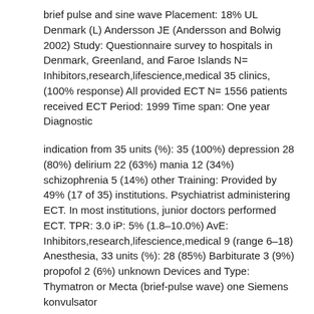brief pulse and sine wave Placement: 18% UL Denmark (L) Andersson JE (Andersson and Bolwig 2002) Study: Questionnaire survey to hospitals in Denmark, Greenland, and Faroe Islands N= Inhibitors,research,lifescience,medical 35 clinics, (100% response) All provided ECT N= 1556 patients received ECT Period: 1999 Time span: One year Diagnostic
indication from 35 units (%): 35 (100%) depression 28 (80%) delirium 22 (63%) mania 12 (34%) schizophrenia 5 (14%) other Training: Provided by 49% (17 of 35) institutions. Psychiatrist administering ECT. In most institutions, junior doctors performed ECT. TPR: 3.0 iP: 5% (1.8–10.0%) AvE: Inhibitors,research,lifescience,medical 9 (range 6–18) Anesthesia, 33 units (%): 28 (85%) Barbiturate 3 (9%) propofol 2 (6%) unknown Devices and Type: Thymatron or Mecta (brief-pulse wave) one Siemens konvulsator
device (sine wave) Denmark
Inhibitors,research,lifescience,medical (L)